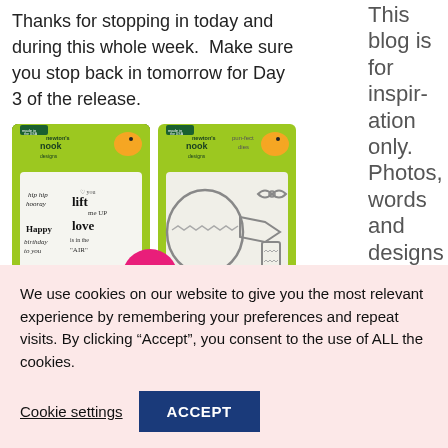Thanks for stopping in today and during this whole week.  Make sure you stop back in tomorrow for Day 3 of the release.
[Figure (photo): Two Newton's Nook Designs product packages side by side: a stamp set with birthday/celebration sentiments and a die set with balloon shapes. A pink 'new!' badge is visible.]
This blog is for inspiration only. Photos, words and designs on this
We use cookies on our website to give you the most relevant experience by remembering your preferences and repeat visits. By clicking “Accept”, you consent to the use of ALL the cookies.
Cookie settings
ACCEPT